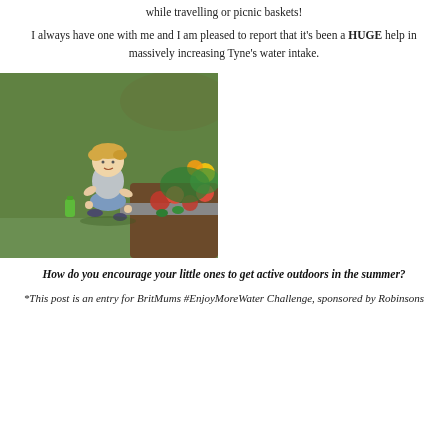while travelling or picnic baskets!
I always have one with me and I am pleased to report that it's been a HUGE help in massively increasing Tyne's water intake.
[Figure (photo): A young blonde toddler crouching on a lawn near a flower bed with red and yellow flowers, with a green water bottle nearby.]
How do you encourage your little ones to get active outdoors in the summer?
*This post is an entry for BritMums #EnjoyMoreWater Challenge, sponsored by Robinsons